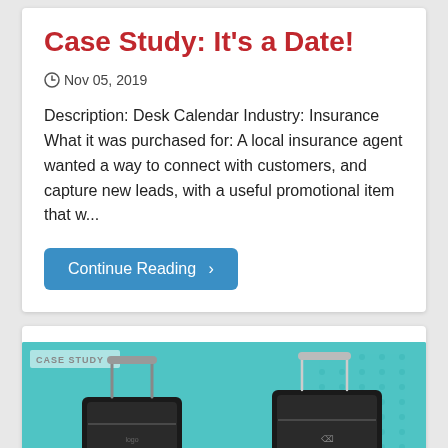Case Study: It's a Date!
Nov 05, 2019
Description: Desk Calendar Industry: Insurance What it was purchased for: A local insurance agent wanted a way to connect with customers, and capture new leads, with a useful promotional item that w...
Continue Reading ›
[Figure (photo): Case study card with teal background showing two black rolling luggage bags with telescoping handles, with a 'CASE STUDY' label in the upper left corner.]